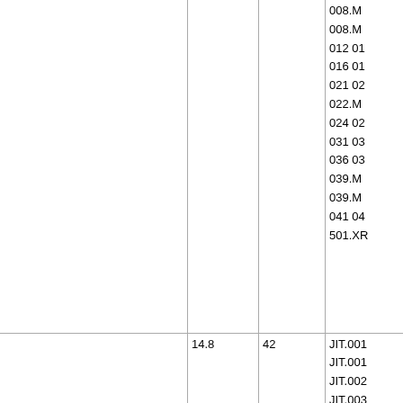|  |  |  |  |
| --- | --- | --- | --- |
|  |  |  | 008.M
008.M
012 01
016 01
021 02
022.M
024 02
031 03
036 03
039.M
039.M
041 04
501.XR |
|  | 14.8 | 42 | JIT.001
JIT.001
JIT.002
JIT.003
JIT.004
JIT.005 |